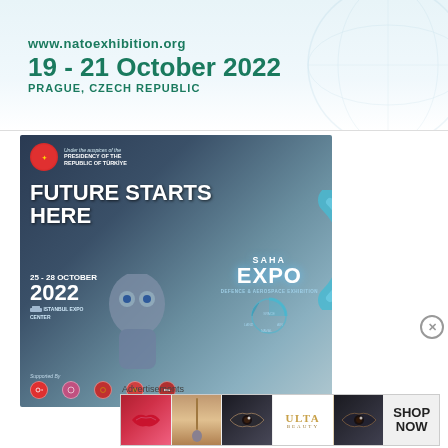[Figure (infographic): NATO exhibition promotional banner showing www.natoexhibition.org, dates 19-21 October 2022, Prague Czech Republic, with globe watermark background]
[Figure (infographic): SAHA EXPO Defence & Aerospace Exhibition advertisement. Under the auspices of the Presidency of the Republic of Türkiye. Future Starts Here. 25-28 October 2022, Istanbul Expo Center. Shows robot figure and teal arc logo. Supported By row of logos.]
Advertisements
[Figure (infographic): Ulta beauty advertisement strip showing lips, makeup brush, eyes, Ulta Beauty logo, eyes again, and SHOP NOW text]